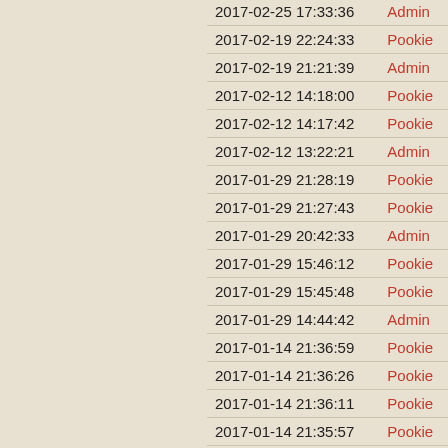| Datetime | User |
| --- | --- |
| 2017-02-25 17:33:36 | Admin |
| 2017-02-19 22:24:33 | Pookie |
| 2017-02-19 21:21:39 | Admin |
| 2017-02-12 14:18:00 | Pookie |
| 2017-02-12 14:17:42 | Pookie |
| 2017-02-12 13:22:21 | Admin |
| 2017-01-29 21:28:19 | Pookie |
| 2017-01-29 21:27:43 | Pookie |
| 2017-01-29 20:42:33 | Admin |
| 2017-01-29 15:46:12 | Pookie |
| 2017-01-29 15:45:48 | Pookie |
| 2017-01-29 14:44:42 | Admin |
| 2017-01-14 21:36:59 | Pookie |
| 2017-01-14 21:36:26 | Pookie |
| 2017-01-14 21:36:11 | Pookie |
| 2017-01-14 21:35:57 | Pookie |
| 2017-01-14 20:34:22 | Admin |
| 2017-01-14 ... | Pookie |